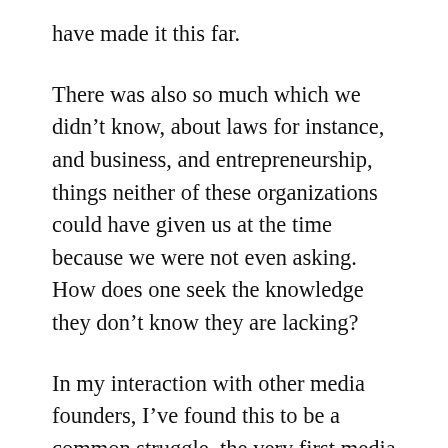have made it this far.
There was also so much which we didn't know, about laws for instance, and business, and entrepreneurship, things neither of these organizations could have given us at the time because we were not even asking. How does one seek the knowledge they don't know they are lacking?
In my interaction with other media founders, I've found this to be a common struggle, the very first media